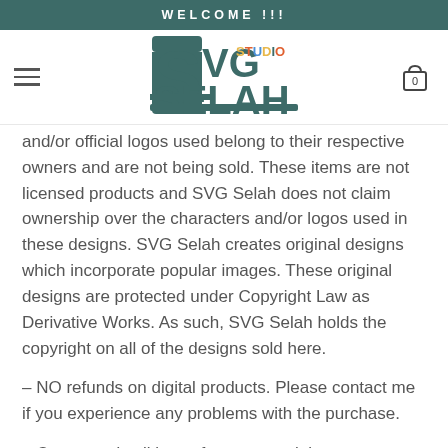WELCOME !!!
[Figure (logo): SVG Studio Selah logo — teal block letters spelling SVG SELAH with colorful STUDIO text inset]
and/or official logos used belong to their respective owners and are not being sold. These items are not licensed products and SVG Selah does not claim ownership over the characters and/or logos used in these designs. SVG Selah creates original designs which incorporate popular images. These original designs are protected under Copyright Law as Derivative Works. As such, SVG Selah holds the copyright on all of the designs sold here.

– NO refunds on digital products. Please contact me if you experience any problems with the purchase.

– Create and sell items for commercial use on any